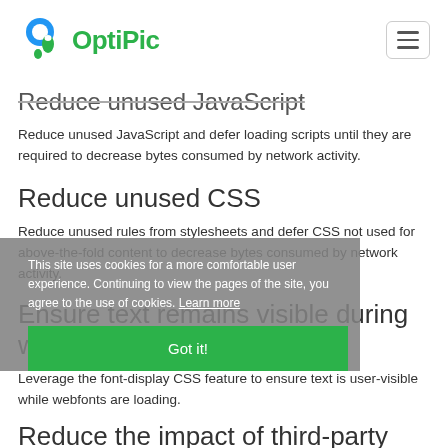OptiPic
Reduce unused JavaScript
Reduce unused JavaScript and defer loading scripts until they are required to decrease bytes consumed by network activity.
Reduce unused CSS
Reduce unused rules from stylesheets and defer CSS not used for above-the-fold content to decrease bytes consumed by network activity.
Ensure text remains visible during webfont load
Leverage the font-display CSS feature to ensure text is user-visible while webfonts are loading.
Reduce the impact of third-party code
Third-party code can significantly impact load performance. Limit
This site uses cookies for a more comfortable user experience. Continuing to view the pages of the site, you agree to the use of cookies. Learn more

Got it!